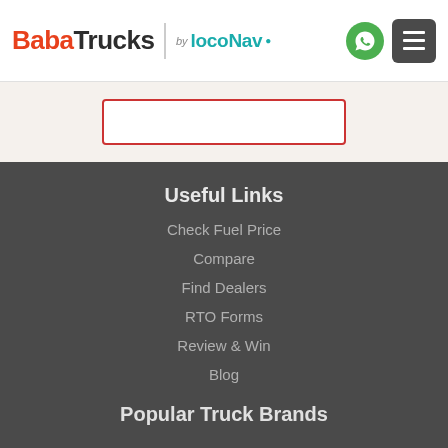BabaTrucks by LocoNav
Useful Links
Check Fuel Price
Compare
Find Dealers
RTO Forms
Review & Win
Blog
Popular Truck Brands